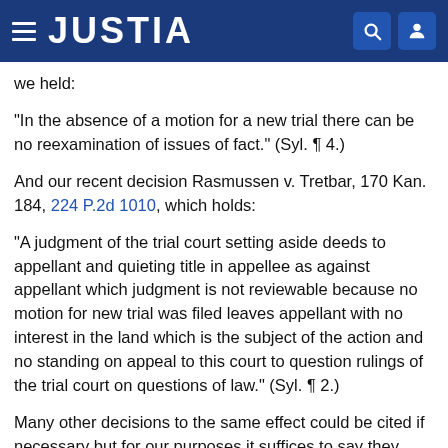JUSTIA
we held:
"In the absence of a motion for a new trial there can be no reexamination of issues of fact." (Syl. ¶ 4.)
And our recent decision Rasmussen v. Tretbar, 170 Kan. 184, 224 P.2d 1010, which holds:
"A judgment of the trial court setting aside deeds to appellant and quieting title in appellee as against appellant which judgment is not reviewable because no motion for new trial was filed leaves appellant with no interest in the land which is the subject of the action and no standing on appeal to this court to question rulings of the trial court on questions of law." (Syl. ¶ 2.)
Many other decisions to the same effect could be cited if necessary but for our purposes it suffices to say they